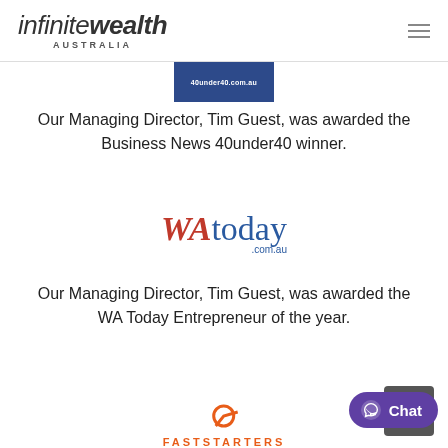infinite wealth AUSTRALIA
[Figure (logo): 40under40.com.au dark blue banner logo]
Our Managing Director, Tim Guest, was awarded the Business News 40under40 winner.
[Figure (logo): WAtoday.com.au logo in red and blue]
Our Managing Director, Tim Guest, was awarded the WA Today Entrepreneur of the year.
[Figure (logo): Faststarters partial logo at bottom of page]
[Figure (other): Messenger Chat button in purple at bottom right]